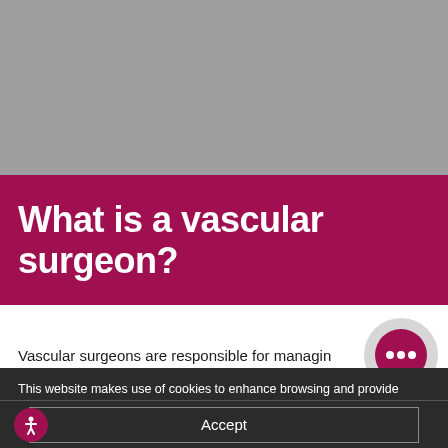[Figure (photo): Gray background image area at top of page (partially visible website header)]
What is a vascular surgeon?
Vascular surgeons are responsible for managing, diagnosing conditions of the vascular system.
[Figure (other): Chat bubble icon - dark pink circle with three dots, on a gray circular background]
This website makes use of cookies to enhance browsing and provide additional functionality. By continuing to visit this site you agree to our use of cookies. Please read our Privacy and Cookies policy to find out more. Privacy Policy
Accept